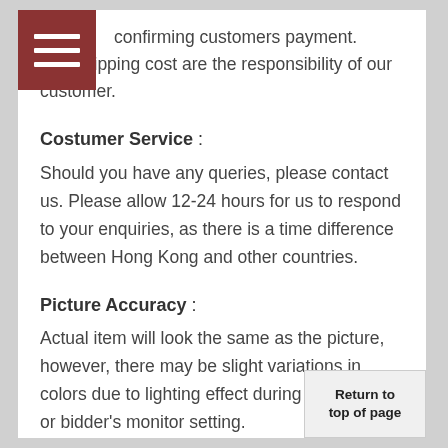[Figure (other): Red/dark red square menu icon with three horizontal white lines]
confirming customers payment.
The shipping cost are the responsibility of our customer.
Costumer Service :
Should you have any queries, please contact us. Please allow 12-24 hours for us to respond to your enquiries, as there is a time difference between Hong Kong and other countries.
Picture Accuracy :
Actual item will look the same as the picture, however, there may be slight variations in colors due to lighting effect during photo taking or bidder's monitor setting.
Return to top of page